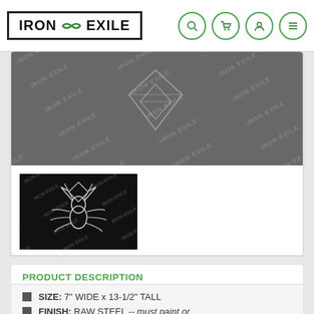IRON EXILE
[Figure (photo): Iron Exile branded banner image with diagonal repeating text pattern on dark grey background with diamond logo shape in center]
[Figure (photo): Black thumbnail image showing a silver metallic spider/arachnid design logo on dark diagonal-pattern background]
PRODUCT DESCRIPTION
SIZE: 7" WIDE x 13-1/2" TALL
FINISH: RAW STEEL -- must paint or